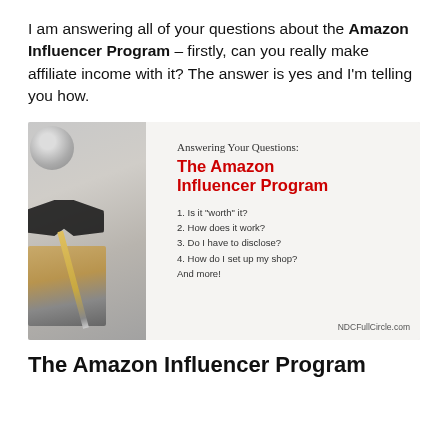I am answering all of your questions about the Amazon Influencer Program – firstly, can you really make affiliate income with it? The answer is yes and I'm telling you how.
[Figure (infographic): Infographic image with a desk background (coffee cup, glasses, notebooks, pencil on left) and text overlay on right reading: 'Answering Your Questions: The Amazon Influencer Program' with list items: 1. Is it "worth" it? 2. How does it work? 3. Do I have to disclose? 4. How do I set up my shop? And more! NDCFullCircle.com]
The Amazon Influencer Program